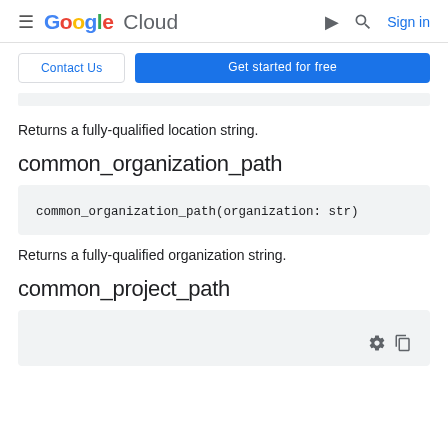Google Cloud — Sign in
Contact Us | Get started for free
Returns a fully-qualified location string.
common_organization_path
Returns a fully-qualified organization string.
common_project_path